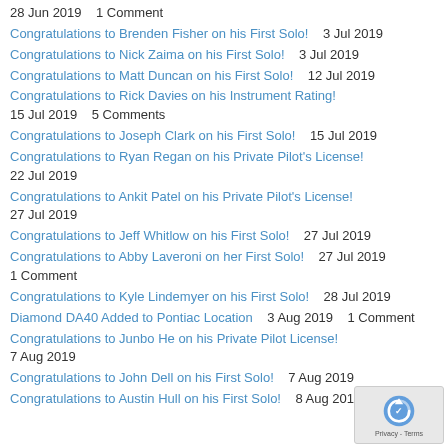28 Jun 2019  · 1 Comment
Congratulations to Brenden Fisher on his First Solo!  3 Jul 2019
Congratulations to Nick Zaima on his First Solo!  3 Jul 2019
Congratulations to Matt Duncan on his First Solo!  12 Jul 2019
Congratulations to Rick Davies on his Instrument Rating!  15 Jul 2019  · 5 Comments
Congratulations to Joseph Clark on his First Solo!  15 Jul 2019
Congratulations to Ryan Regan on his Private Pilot's License!  22 Jul 2019
Congratulations to Ankit Patel on his Private Pilot's License!  27 Jul 2019
Congratulations to Jeff Whitlow on his First Solo!  27 Jul 2019
Congratulations to Abby Laveroni on her First Solo!  27 Jul 2019 · 1 Comment
Congratulations to Kyle Lindemyer on his First Solo!  28 Jul 2019
Diamond DA40 Added to Pontiac Location  3 Aug 2019 · 1 Comment
Congratulations to Junbo He on his Private Pilot License!  7 Aug 2019
Congratulations to John Dell on his First Solo!  7 Aug 2019
Congratulations to Austin Hull on his First Solo!  8 Aug 2019